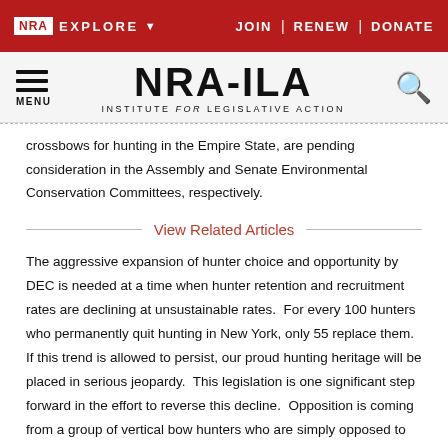NRA EXPLORE | JOIN | RENEW | DONATE
[Figure (logo): NRA-ILA Institute for Legislative Action logo with hamburger menu and search icon]
crossbows for hunting in the Empire State, are pending consideration in the Assembly and Senate Environmental Conservation Committees, respectively.
View Related Articles
The aggressive expansion of hunter choice and opportunity by DEC is needed at a time when hunter retention and recruitment rates are declining at unsustainable rates. For every 100 hunters who permanently quit hunting in New York, only 55 replace them. If this trend is allowed to persist, our proud hunting heritage will be placed in serious jeopardy. This legislation is one significant step forward in the effort to reverse this decline. Opposition is coming from a group of vertical bow hunters who are simply opposed to sharing the woods with more hunters. Nothing in